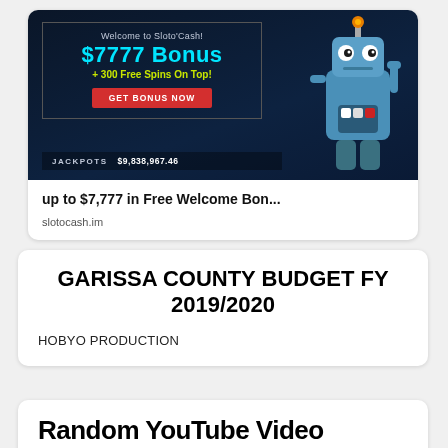[Figure (screenshot): Sloto'Cash online casino advertisement banner showing '$7777 Bonus + 300 Free Spins On Top!' with a robot mascot and jackpot amount of $9,838,967.46]
up to $7,777 in Free Welcome Bon...
slotocash.im
GARISSA COUNTY BUDGET FY 2019/2020
HOBYO PRODUCTION
Random YouTube Video